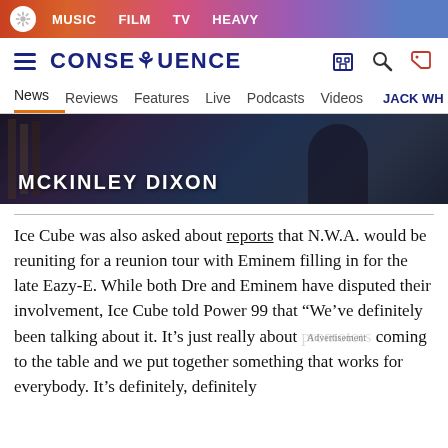MUSIC  FILM  TV  HEAVY
[Figure (logo): Consequence of Sound site header with hamburger menu, logo, and icons]
News  Reviews  Features  Live  Podcasts  Videos  JACK WH
[Figure (photo): Dark photo with text overlay reading MCKINLEY DIXON]
Ice Cube was also asked about reports that N.W.A. would be reuniting for a reunion tour with Eminem filling in for the late Eazy-E. While both Dre and Eminem have disputed their involvement, Ice Cube told Power 99 that “We’ve definitely been talking about it. It’s just really about promotors coming to the table and we put together something that works for everybody. It’s definitely, definitely